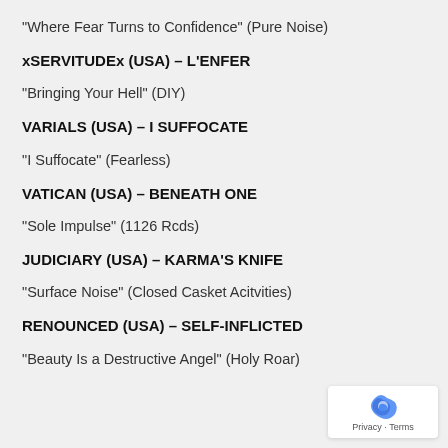"Where Fear Turns to Confidence" (Pure Noise)
xSERVITUDEx (USA) – L'ENFER
"Bringing Your Hell" (DIY)
VARIALS (USA) – I SUFFOCATE
"I Suffocate" (Fearless)
VATICAN (USA) – BENEATH ONE
"Sole Impulse" (1126 Rcds)
JUDICIARY (USA) – KARMA'S KNIFE
"Surface Noise" (Closed Casket Acitvities)
RENOUNCED (USA) – SELF-INFLICTED
"Beauty Is a Destructive Angel" (Holy Roar)